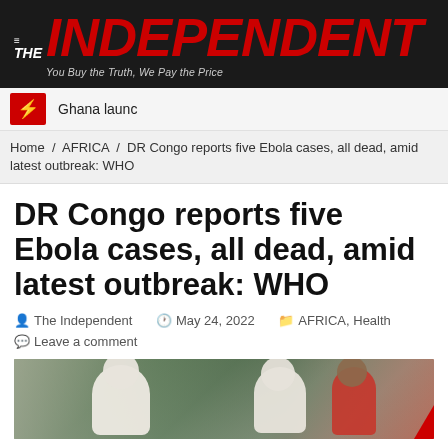THE INDEPENDENT — You Buy the Truth, We Pay the Price
Ghana launc
Home / AFRICA / DR Congo reports five Ebola cases, all dead, amid latest outbreak: WHO
DR Congo reports five Ebola cases, all dead, amid latest outbreak: WHO
The Independent   May 24, 2022   AFRICA, Health   Leave a comment
[Figure (photo): People in white protective suits and a person in a red shirt in an outdoor setting with vegetation, related to Ebola response in DR Congo]